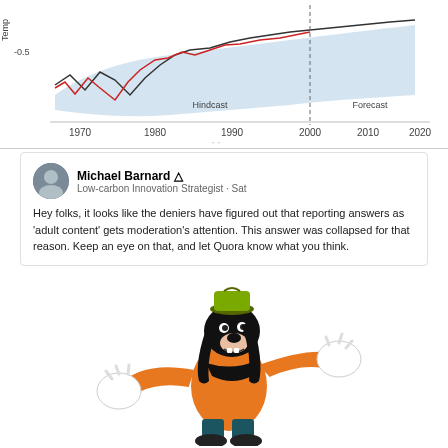[Figure (continuous-plot): Climate temperature chart showing hindcast and forecast lines from 1970 to 2020. Red and black lines show temperature anomaly with blue shaded uncertainty band. Dashed vertical line separates Hindcast (left) and Forecast (right) around year 2000. Y-axis shows temperature anomaly around -0.5. X-axis labels: 1970, 1980, 1990, 2000, 2010, 2020.]
Michael Barnard ☆
Low-carbon Innovation Strategist · Sat

Hey folks, it looks like the deniers have figured out that reporting answers as 'adult content' gets moderation's attention. This answer was collapsed for that reason. Keep an eye on that, and let Quora know what you think.
[Figure (illustration): Cartoon illustration of Goofy (Disney character) in an orange outfit with a green hat, arms outstretched, smiling, on a white background.]